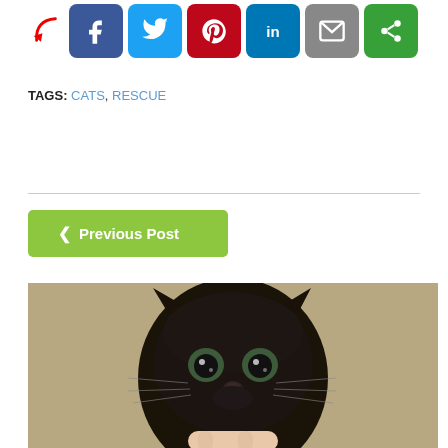[Figure (screenshot): Social media share buttons: Facebook (blue), Twitter (light blue), Pinterest (red), LinkedIn (blue), Email (grey), Share (green), with a red arrow pointing to them]
TAGS: CATS, RESCUE
[Figure (other): Green Previous Post navigation button with left chevron]
[Figure (photo): Close-up photo of a black kitten with wide green eyes looking at the camera, held by a hand, on a carpet background]